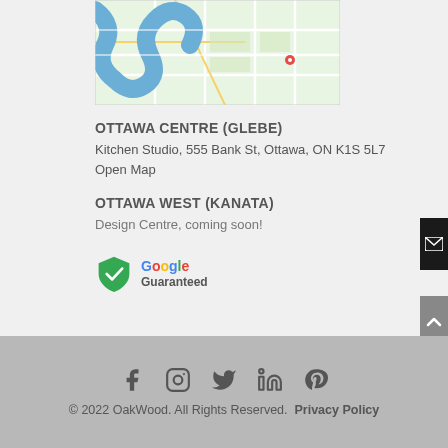[Figure (map): Google Maps screenshot showing Ottawa area with river and street grid]
OTTAWA CENTRE (GLEBE)
Kitchen Studio, 555 Bank St, Ottawa, ON K1S 5L7
Open Map
OTTAWA WEST (KANATA)
Design Centre, coming soon!
[Figure (logo): Google Guaranteed badge with shield checkmark icon]
© 2022 OakWood. All Rights Reserved. Privacy Policy